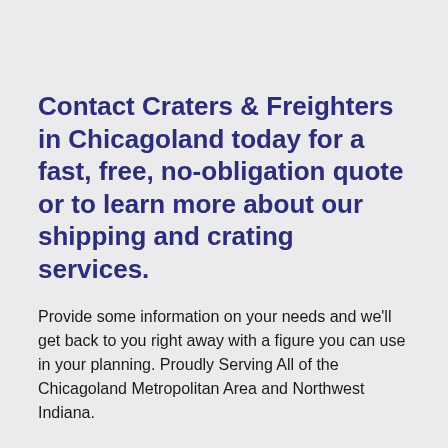Contact Craters & Freighters in Chicagoland today for a fast, free, no-obligation quote or to learn more about our shipping and crating services.
Provide some information on your needs and we'll get back to you right away with a figure you can use in your planning. Proudly Serving All of the Chicagoland Metropolitan Area and Northwest Indiana.
Get Quote